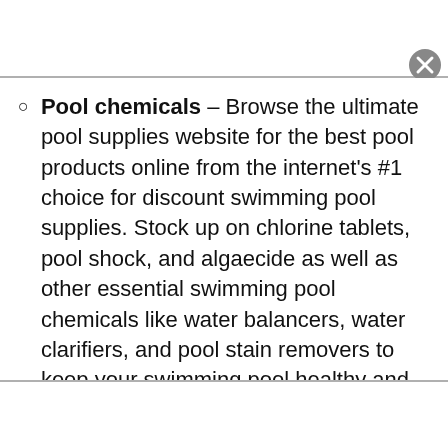Pool chemicals – Browse the ultimate pool supplies website for the best pool products online from the internet's #1 choice for discount swimming pool supplies. Stock up on chlorine tablets, pool shock, and algaecide as well as other essential swimming pool chemicals like water balancers, water clarifiers, and pool stain removers to keep your swimming pool healthy and beautiful.